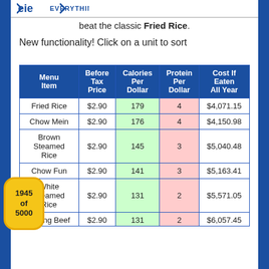beat the classic Fried Rice.
New functionality! Click on a unit to sort
| Menu Item | Before Tax Price | Calories Per Dollar | Protein Per Dollar | Cost If Eaten All Year |
| --- | --- | --- | --- | --- |
| Fried Rice | $2.90 | 179 | 4 | $4,071.15 |
| Chow Mein | $2.90 | 176 | 4 | $4,150.98 |
| Brown Steamed Rice | $2.90 | 145 | 3 | $5,040.48 |
| Chow Fun | $2.90 | 141 | 3 | $5,163.41 |
| White Steamed Rice | $2.90 | 131 | 2 | $5,571.05 |
| Beijing Beef | $2.90 | 131 | 2 | $6,057.45 |